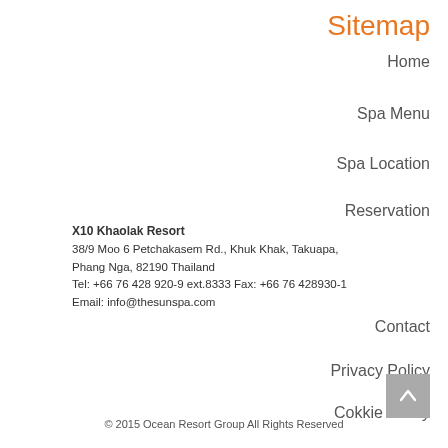Sitemap
Home
Spa Menu
Spa Location
Reservation
X10 Khaolak Resort
38/9 Moo 6 Petchakasem Rd., Khuk Khak, Takuapa, Phang Nga, 82190 Thailand
Tel: +66 76 428 920-9 ext.8333 Fax: +66 76 428930-1
Email: info@thesunspa.com
Contact
Privacy Policy
Cokkie Policy
© 2015 Ocean Resort Group All Rights Reserved